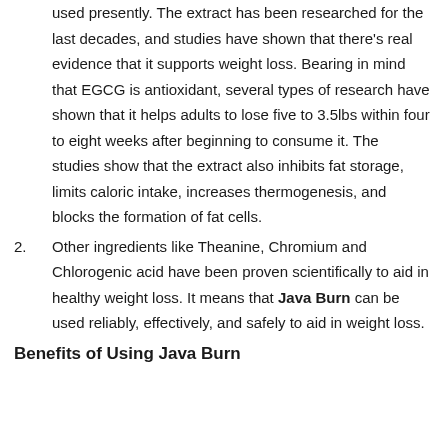used presently. The extract has been researched for the last decades, and studies have shown that there's real evidence that it supports weight loss. Bearing in mind that EGCG is antioxidant, several types of research have shown that it helps adults to lose five to 3.5lbs within four to eight weeks after beginning to consume it. The studies show that the extract also inhibits fat storage, limits caloric intake, increases thermogenesis, and blocks the formation of fat cells.
2. Other ingredients like Theanine, Chromium and Chlorogenic acid have been proven scientifically to aid in healthy weight loss. It means that Java Burn can be used reliably, effectively, and safely to aid in weight loss.
Benefits of Using Java Burn